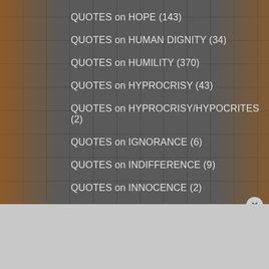QUOTES on HOPE (143)
QUOTES on HUMAN DIGNITY (34)
QUOTES on HUMILITY (370)
QUOTES on HYPROCRISY (43)
QUOTES on HYPROCRISY/HYPOCRITES (2)
QUOTES on IGNORANCE (6)
QUOTES on INDIFFERENCE (9)
QUOTES on INNOCENCE (2)
QUOTES on JEALOUSY (6)
QUOTES on JOY (109)
QUOTES on JUDGING (11)
Advertisements
[Figure (screenshot): Bloomingdales advertisement banner: 'bloomingdales View Today's Top Deals! SHOP NOW >']